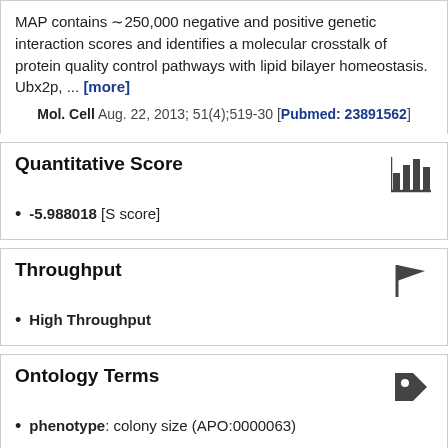MAP contains â¾250,000 negative and positive genetic interaction scores and identifies a molecular crosstalk of protein quality control pathways with lipid bilayer homeostasis. Ubx2p, ... [more]
Mol. Cell Aug. 22, 2013; 51(4);519-30 [Pubmed: 23891562]
Quantitative Score
-5.988018 [S score]
Throughput
High Throughput
Ontology Terms
phenotype: colony size (APO:0000063)
Additional Notes
A gene-dosage DAmP allele was used in the experiment.